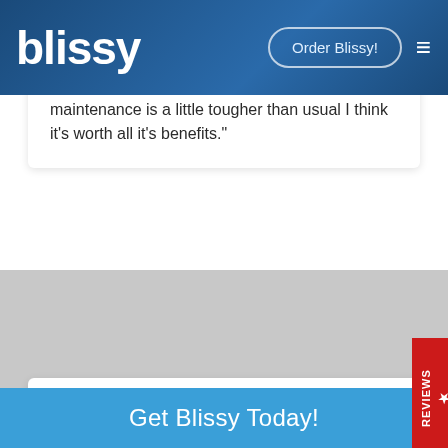blissy | Order Blissy!
maintenance is a little tougher than usual I think it's worth all it's benefits."
SEE WHAT OUR CUSTOMERS ARE SAYING!
More Happy Blissy Customers
Get Blissy Today!